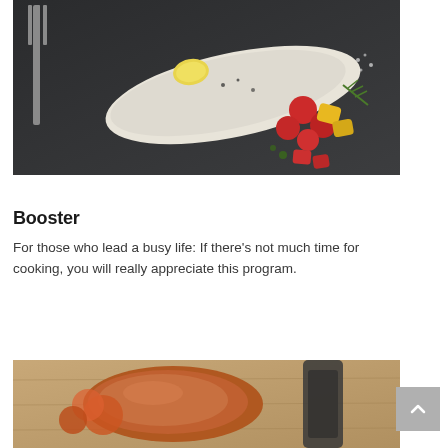[Figure (photo): Overhead view of a cooked fish fillet on a dark slate board, garnished with cherry tomatoes, diced yellow and red peppers, herbs, and a lemon slice, with a large fork beside it.]
Booster
For those who lead a busy life: If there's not much time for cooking, you will really appreciate this program.
[Figure (photo): Partial overhead view of what appears to be a roasted or grilled meat dish on a cutting board, with a dark utensil visible, partially cropped at the bottom of the page.]